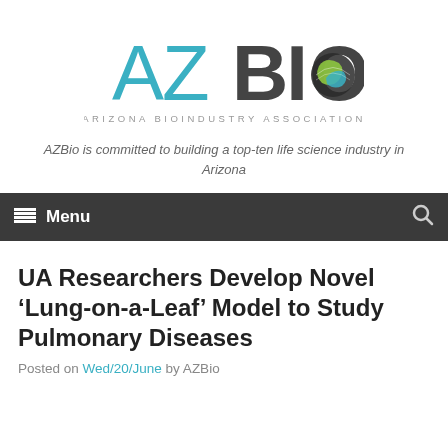[Figure (logo): AZBio - Arizona Bioindustry Association logo with stylized globe graphic]
AZBio is committed to building a top-ten life science industry in Arizona
Menu
UA Researchers Develop Novel ‘Lung-on-a-Leaf’ Model to Study Pulmonary Diseases
Posted on Wed/20/June by AZBio